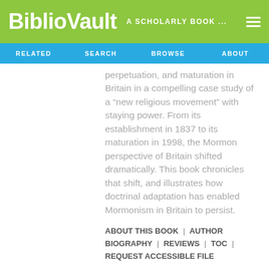BiblioVault  A SCHOLARLY BOOK ...
RELATED  SEARCH  BROWSE  ABOUT
perpetuation, and maturation in Britain in a compelling case study of a “new religious movement” with staying power. From its establishment in 1837 to its maturation in 1998, the Mormon perspective of Britain shifted dramatically. This book chronicles that shift, and illustrates how doctrinal adaptation has enabled Mormonism in Britain to persist.
ABOUT THIS BOOK | AUTHOR BIOGRAPHY | REVIEWS | TOC | REQUEST ACCESSIBLE FILE
[Figure (infographic): Three social media icons (email @, Facebook f, Twitter bird) in grey]